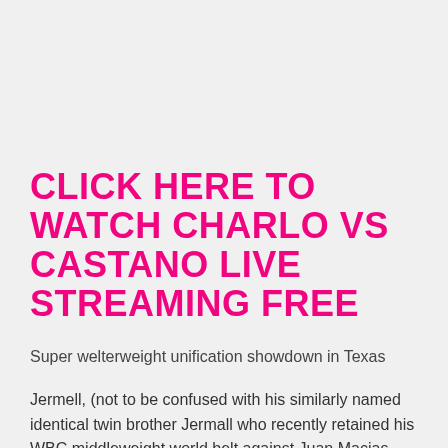CLICK HERE TO WATCH CHARLO VS CASTANO LIVE STREAMING FREE
Super welterweight unification showdown in Texas
Jermell, (not to be confused with his similarly named identical twin brother Jermall who recently retained his WBC middleweight world belt against Juan Macias Montiel), comes into the fight hoping to become the first-ever undisputed super welterweight champion in